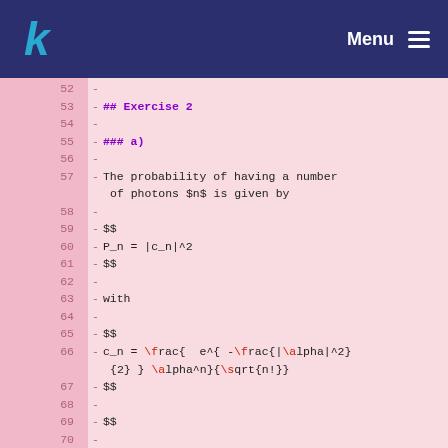k [logo] | Menu
52 -
53 - ## Exercise 2
54 -
55 - ### a)
56 -
57 - The probability of having a number of photons $n$ is given by
58 -
59 - $$
60 - P_n = |c_n|^2
61 - $$
62 -
63 - with
64 -
65 - $$
66 - c_n = \frac{ e^{ -\frac{|\alpha|^2}{2} } \alpha^n}{\sqrt{n!}}
67 - $$
68 -
69 - $$
70 - [...]